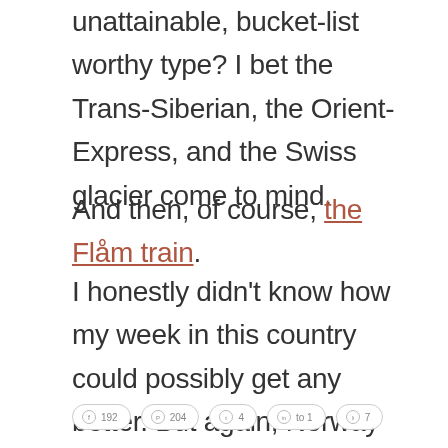unattainable, bucket-list worthy type? I bet the Trans-Siberian, the Orient-Express, and the Swiss glacier come to mind.
And then, of course, the Flåm train.
I honestly didn't know how my week in this country could possibly get any better. But again, Norway outdid itself and blew me away, by offering me the simplest of things: its scenery.
[Figure (other): Social sharing buttons: circular icon buttons for various social media platforms with share counts]